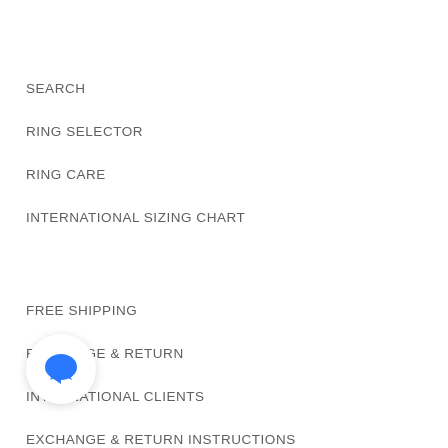SEARCH
RING SELECTOR
RING CARE
INTERNATIONAL SIZING CHART
FREE SHIPPING
EXCHANGE & RETURN
INTERNATIONAL CLIENTS
EXCHANGE & RETURN INSTRUCTIONS
CONTACT US
[Figure (illustration): Blue chat bubble icon inside a white circular button with shadow]